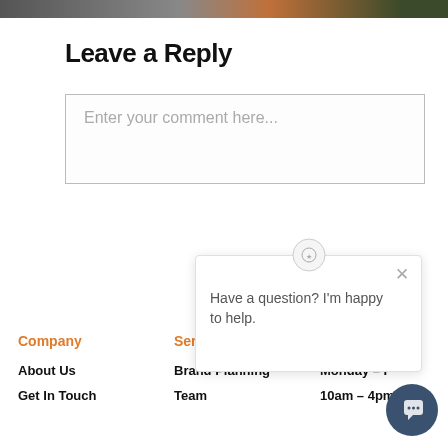[Figure (photo): Top strip of a partially visible photo showing warm/brown tones]
Leave a Reply
Enter your comment here...
[Figure (screenshot): Chat popup widget with avatar icon, close button, and text 'Have a question? I'm happy to help.']
Company
Services
Business Info
About Us
Brand Planning
Monday – F
Get In Touch
Team
10am – 4pm